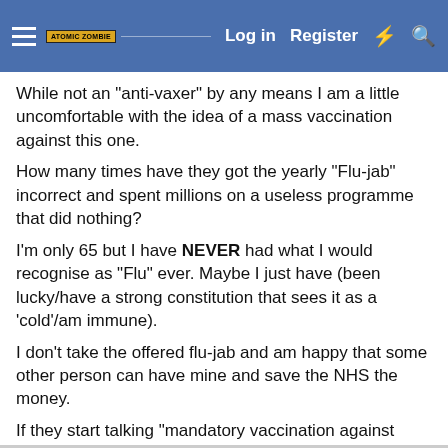Atomic Zombie forum header with Log in, Register, and icon buttons
While not an "anti-vaxer" by any means I am a little uncomfortable with the idea of a mass vaccination against this one.
How many times have they got the yearly "Flu-jab" incorrect and spent millions on a useless programme that did nothing?
I'm only 65 but I have NEVER had what I would recognise as "Flu" ever. Maybe I just have (been lucky/have a strong constitution that sees it as a 'cold'/am immune).
I don't take the offered flu-jab and am happy that some other person can have mine and save the NHS the money.
If they start talking "mandatory vaccination against Covid-19, for the good of the herd" I shall be somewhat distressed.